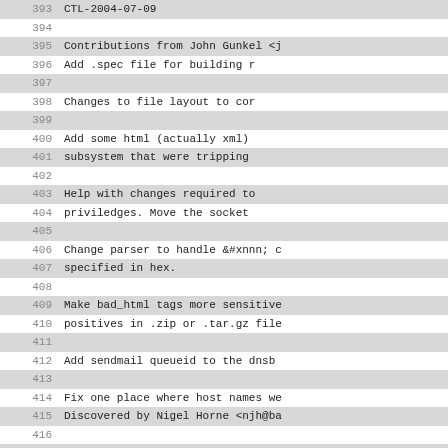Code/diff view lines 393-425, showing commit log entries with line numbers. Alternating highlighted rows. Content includes contributions, file layout changes, XML/HTML handling, parser changes, DNS queries, host soft limit config keyword additions.